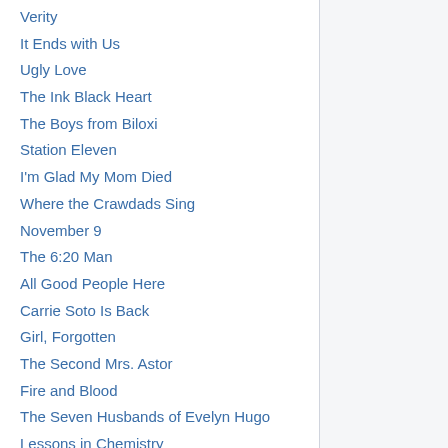Verity
It Ends with Us
Ugly Love
The Ink Black Heart
The Boys from Biloxi
Station Eleven
I'm Glad My Mom Died
Where the Crawdads Sing
November 9
The 6:20 Man
All Good People Here
Carrie Soto Is Back
Girl, Forgotten
The Second Mrs. Astor
Fire and Blood
The Seven Husbands of Evelyn Hugo
Lessons in Chemistry
All Your Perfects
Love on the Brain
One Night with an Earl